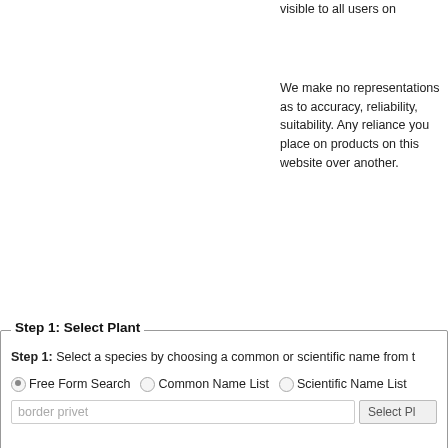visible to all users on
We make no representations as to accuracy, reliability, suitability. Any reliance you place on products on this website over another.
Step 1: Select Plant
Step 1: Select a species by choosing a common or scientific name from the list.
Free Form Search  Common Name List  Scientific Name List
border privet  Select Plant
Step 2: Select Search Parameters
Step 2: Select search parameter(s) of interest. If no parameters are selected, meet or exceed the criteria selected will be displayed.
Under the Search Results you will find
Plant Identification information – information on species identification
Ecological Threats – threats posed to natural ecosystems by this species
Case Studies – Detailed successes (and failures) on how to control